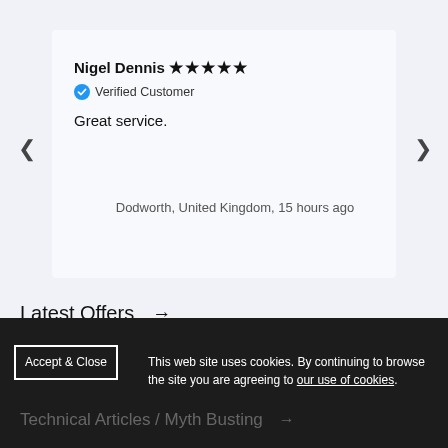Nigel Dennis ★★★★★
Verified Customer
Great service.
Dodworth, United Kingdom, 15 hours ago
Latest Offers →
Latest Products →
This web site uses cookies. By continuing to browse the site you are agreeing to our use of cookies.
Technical Articles / Myth Busting →